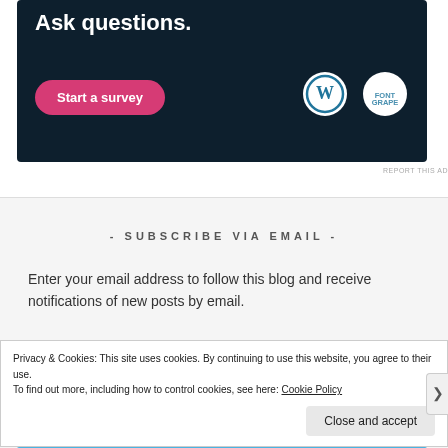[Figure (screenshot): Dark navy ad banner with text 'Ask questions.' in bold white, a pink 'Start a survey' button, and two circular logos (WordPress and another brand) on the right side.]
REPORT THIS AD
- SUBSCRIBE VIA EMAIL -
Enter your email address to follow this blog and receive notifications of new posts by email.
Privacy & Cookies: This site uses cookies. By continuing to use this website, you agree to their use. To find out more, including how to control cookies, see here: Cookie Policy